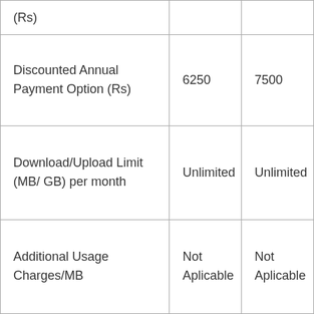| (Rs) |  |  |
| Discounted Annual Payment Option (Rs) | 6250 | 7500 |
| Download/Upload Limit (MB/ GB) per month | Unlimited | Unlimited |
| Additional Usage Charges/MB | Not Aplicable | Not Aplicable |